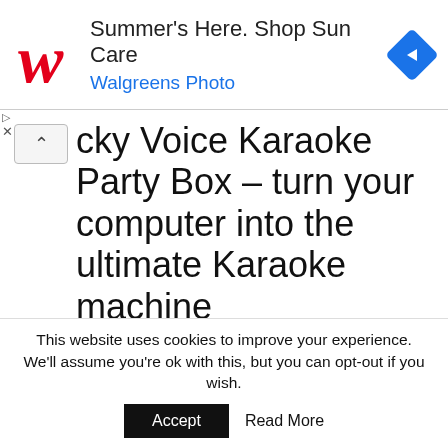[Figure (infographic): Walgreens Photo advertisement banner with red cursive W logo, text 'Summer's Here. Shop Sun Care' and 'Walgreens Photo', and a blue diamond-shaped navigation arrow icon]
Lucky Voice Karaoke Party Box – turn your computer into the ultimate Karaoke machine
The Lucky Voice Karaoke Party Box plugs into your computer and turns it into a full featured Karaoke machine capable of driving the dog insane and your neighbours to Alaska. It comes with a year's subscription to the LuckyVoice.com Karaoke service which has 6000 songs with lyrics awaiting your every pleasure. The box comes with echo and sockets for two microphones (oh noes!). £49.95 including free noise abatement law
This website uses cookies to improve your experience. We'll assume you're ok with this, but you can opt-out if you wish.
Accept   Read More